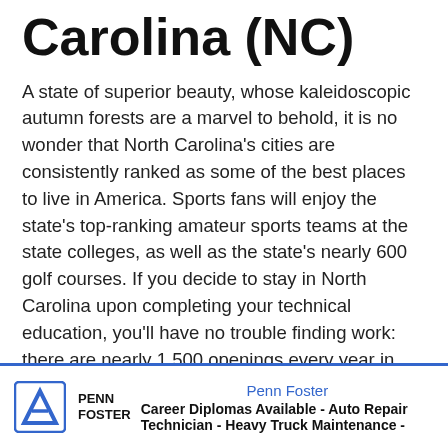Carolina (NC)
A state of superior beauty, whose kaleidoscopic autumn forests are a marvel to behold, it is no wonder that North Carolina's cities are consistently ranked as some of the best places to live in America. Sports fans will enjoy the state's top-ranking amateur sports teams at the state colleges, as well as the state's nearly 600 golf courses. If you decide to stay in North Carolina upon completing your technical education, you'll have no trouble finding work: there are nearly 1,500 openings every year in North Carolina for positions in the automotive technology industries—be it with a shop, auto dealer, or a professional racing outfit like NASCAR.
And as far as car racing is considered, North Carolina
Penn Foster
Career Diplomas Available - Auto Repair Technician - Heavy Truck Maintenance -